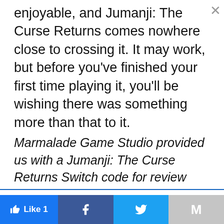enjoyable, and Jumanji: The Curse Returns comes nowhere close to crossing it. It may work, but before you've finished your first time playing it, you'll be wishing there was something more than that to it.
Marmalade Game Studio provided us with a Jumanji: The Curse Returns Switch code for review purposes.
This website uses cookies.
Accept
Like 1